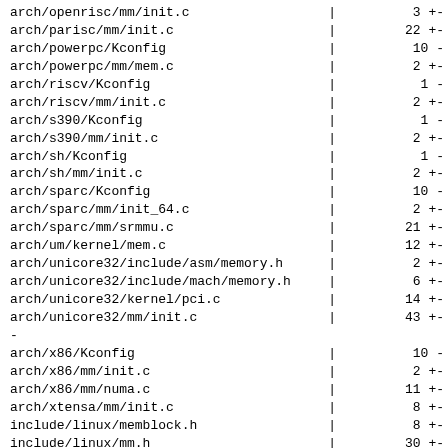arch/openrisc/mm/init.c | 3 +-
arch/parisc/mm/init.c | 22 +-
arch/powerpc/Kconfig | 10 -
arch/powerpc/mm/mem.c | 2 +-
arch/riscv/Kconfig | 1 -
arch/riscv/mm/init.c | 2 +-
arch/s390/Kconfig | 1 -
arch/s390/mm/init.c | 2 +-
arch/sh/Kconfig | 1 -
arch/sh/mm/init.c | 2 +-
arch/sparc/Kconfig | 10 -
arch/sparc/mm/init_64.c | 2 +-
arch/sparc/mm/srmmu.c | 21 +-
arch/um/kernel/mem.c | 12 +-
arch/unicore32/include/asm/memory.h | 2 +-
arch/unicore32/include/mach/memory.h | 6 +-
arch/unicore32/kernel/pci.c | 14 +-
arch/unicore32/mm/init.c | 43 +-
-
arch/x86/Kconfig | 10 -
arch/x86/mm/init.c | 2 +-
arch/x86/mm/numa.c | 11 +-
arch/xtensa/mm/init.c | 8 +-
include/linux/memblock.h | 8 +-
include/linux/mm.h | 30 +-
include/linux/mmzone.h | 11 +-
mm/Kconfig | 3 -
mm/memblock.c | 19 +-
mm/memory_hotplug.c | 4 -
mm/page_alloc.c | 262
++++++